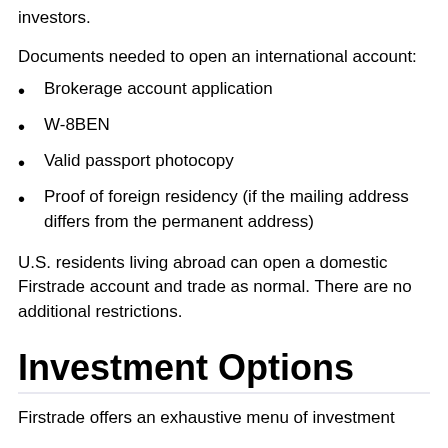investors.
Documents needed to open an international account:
Brokerage account application
W-8BEN
Valid passport photocopy
Proof of foreign residency (if the mailing address differs from the permanent address)
U.S. residents living abroad can open a domestic Firstrade account and trade as normal. There are no additional restrictions.
Investment Options
Firstrade offers an exhaustive menu of investment